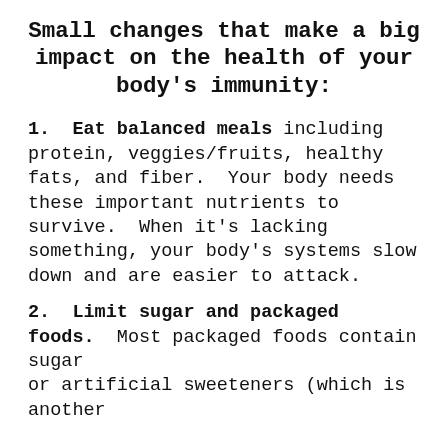Small changes that make a big impact on the health of your body's immunity:
1.  Eat balanced meals including protein, veggies/fruits, healthy fats, and fiber.  Your body needs these important nutrients to survive.  When it's lacking something, your body's systems slow down and are easier to attack.
2.  Limit sugar and packaged foods.  Most packaged foods contain sugar or artificial sweeteners (which is another